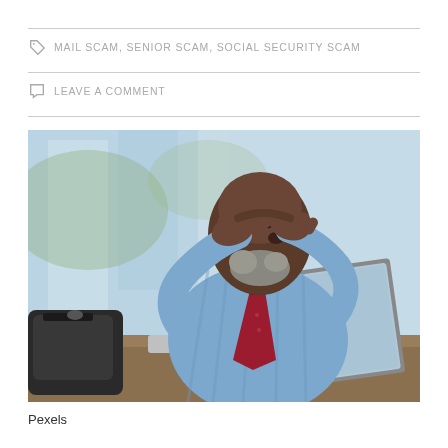MAIL SCAM, SENIOR SCAM, SOCIAL SECURITY SCAM
LEAVE A COMMENT
[Figure (photo): An older African American man in a light blue striped shirt and dark red tie sits at a table with a laptop in front of him, holding his head in his hands in a distressed pose. A black bag is visible to his left. The background is blurred with greenery and glass architecture.]
Pexels